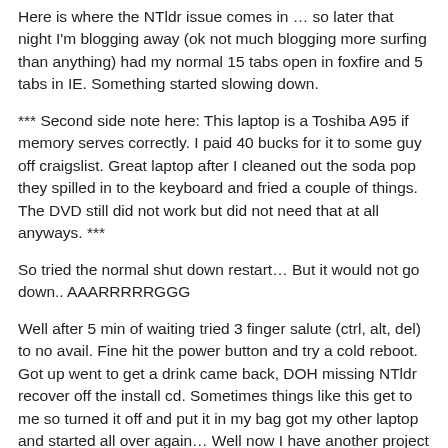Here is where the NTldr issue comes in … so later that night I'm blogging away (ok not much blogging more surfing than anything) had my normal 15 tabs open in foxfire and 5 tabs in IE. Something started slowing down.
*** Second side note here: This laptop is a Toshiba A95 if memory serves correctly. I paid 40 bucks for it to some guy off craigslist. Great laptop after I cleaned out the soda pop they spilled in to the keyboard and fried a couple of things. The DVD still did not work but did not need that at all anyways. ***
So tried the normal shut down restart… But it would not go down.. AAARRRRRGGG
Well after 5 min of waiting tried 3 finger salute (ctrl, alt, del) to no avail. Fine hit the power button and try a cold reboot. Got up went to get a drink came back, DOH missing NTldr recover off the install cd. Sometimes things like this get to me so turned it off and put it in my bag got my other laptop and started all over again… Well now I have another project to share with you in the next post of how to recover from this